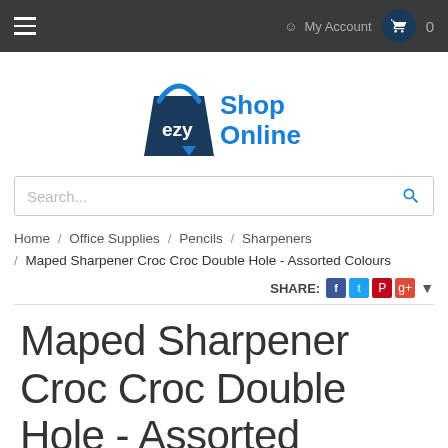≡  My Account  🛒  0
[Figure (logo): ezy Shop Online logo with shopping bag icon in dark blue and light blue text]
Search...
Home / Office Supplies / Pencils / Sharpeners / Maped Sharpener Croc Croc Double Hole - Assorted Colours
SHARE:
Maped Sharpener Croc Croc Double Hole - Assorted